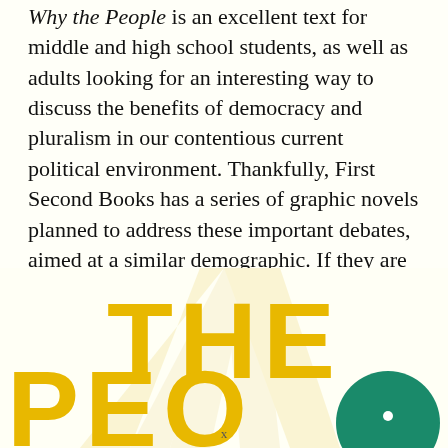Why the People is an excellent text for middle and high school students, as well as adults looking for an interesting way to discuss the benefits of democracy and pluralism in our contentious current political environment. Thankfully, First Second Books has a series of graphic novels planned to address these important debates, aimed at a similar demographic. If they are as strong as Why the People, this series of titles should be an incredible resource to civilly expose young people to the chief philosophical debates of our era.
[Figure (illustration): Bottom portion of a book cover showing large bold yellow text 'THE' on a cream/off-white background with subtle diagonal rays, and below it partial yellow text 'PEOP' with the 'O' replaced by a green circle (possibly a head illustration). The cover art is for the graphic novel 'Why the People'.]
x